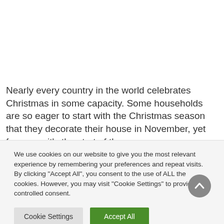Nearly every country in the world celebrates Christmas in some capacity. Some households are so eager to start with the Christmas season that they decorate their house in November, yet for many, it's the start of the
We use cookies on our website to give you the most relevant experience by remembering your preferences and repeat visits. By clicking "Accept All", you consent to the use of ALL the cookies. However, you may visit "Cookie Settings" to provide a controlled consent.